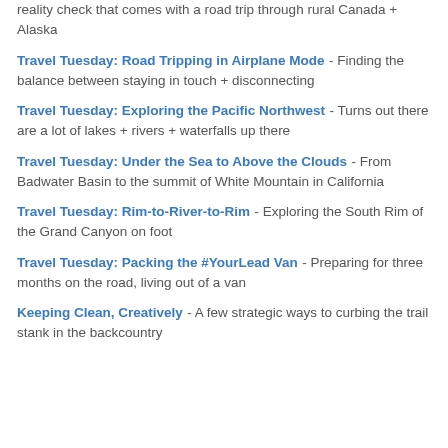reality check that comes with a road trip through rural Canada + Alaska
Travel Tuesday: Road Tripping in Airplane Mode - Finding the balance between staying in touch + disconnecting
Travel Tuesday: Exploring the Pacific Northwest - Turns out there are a lot of lakes + rivers + waterfalls up there
Travel Tuesday: Under the Sea to Above the Clouds - From Badwater Basin to the summit of White Mountain in California
Travel Tuesday: Rim-to-River-to-Rim - Exploring the South Rim of the Grand Canyon on foot
Travel Tuesday: Packing the #YourLead Van - Preparing for three months on the road, living out of a van
Keeping Clean, Creatively - A few strategic ways to curbing the trail stank in the backcountry